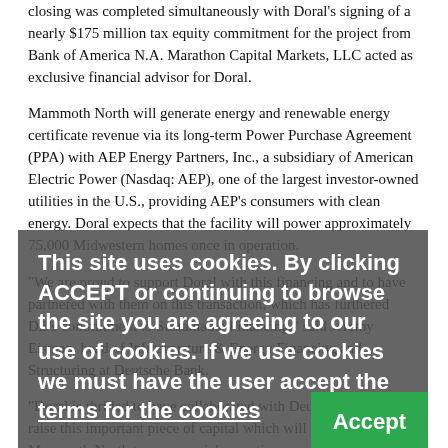closing was completed simultaneously with Doral's signing of a nearly $175 million tax equity commitment for the project from Bank of America N.A. Marathon Capital Markets, LLC acted as exclusive financial advisor for Doral.
Mammoth North will generate energy and renewable energy certificate revenue via its long-term Power Purchase Agreement (PPA) with AEP Energy Partners, Inc., a subsidiary of American Electric Power (Nasdaq: AEP), one of the largest investor-owned utilities in the U.S., providing AEP's consumers with clean energy. Doral expects that the facility will power approximately 75,000 Midwestern homes once in operation.
"We are proud to support Doral with this financing and to have partnered with them on this transaction, which has furthered DB's commitment to Sustainable Financing," said Jeremy Eisman, head of Infrastructure & Energy Financing and Structuring at Deutsche Bank.
"Doral is thrilled to have collaborated with Deutsche Bank to raise this important piece of capital which will enable us to bring Mammoth North to commercial operation as expected in 2023," said Evan Speece, Chief Financial Officer at Doral Renewables LLC. "We look forward to continuing to work with
This site uses cookies. By clicking ACCEPT or continuing to browse the site you are agreeing to our use of cookies. If we use cookies we must have the user accept the terms for the cookies